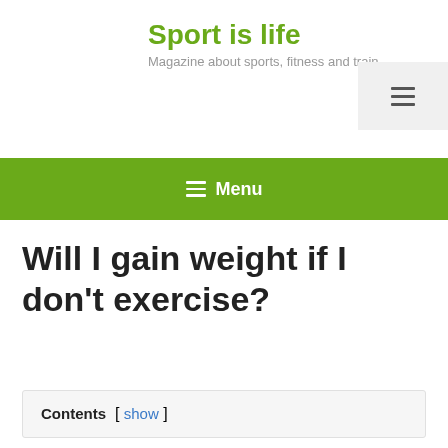Sport is life
Magazine about sports, fitness and train
[Figure (other): Hamburger menu button icon in a light grey box in the upper right corner]
≡ Menu
Will I gain weight if I don't exercise?
Contents [ show ]